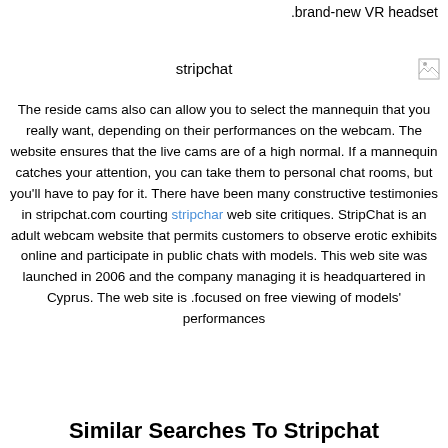.brand-new VR headset
stripchat
[Figure (other): Broken image icon]
The reside cams also can allow you to select the mannequin that you really want, depending on their performances on the webcam. The website ensures that the live cams are of a high normal. If a mannequin catches your attention, you can take them to personal chat rooms, but you'll have to pay for it. There have been many constructive testimonies in stripchat.com courting stripchar web site critiques. StripChat is an adult webcam website that permits customers to observe erotic exhibits online and participate in public chats with models. This web site was launched in 2006 and the company managing it is headquartered in Cyprus. The web site is focused on free viewing of models' performances.
Similar Searches To Stripchat